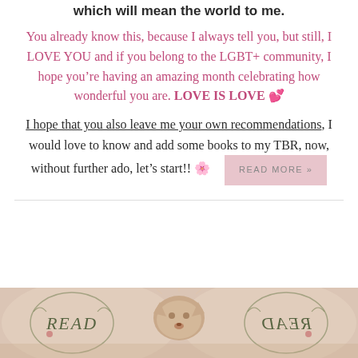which will mean the world to me.
You already know this, because I always tell you, but still, I LOVE YOU and if you belong to the LGBT+ community, I hope you're having an amazing month celebrating how wonderful you are. LOVE IS LOVE 💕
I hope that you also leave me your own recommendations, I would love to know and add some books to my TBR, now, without further ado, let's start!! 🌸
[Figure (photo): Banner image showing book-related illustration with a leopard/cheetah in the center and decorative text 'READ' on both sides with floral wreath motifs, on a warm beige/pink background.]